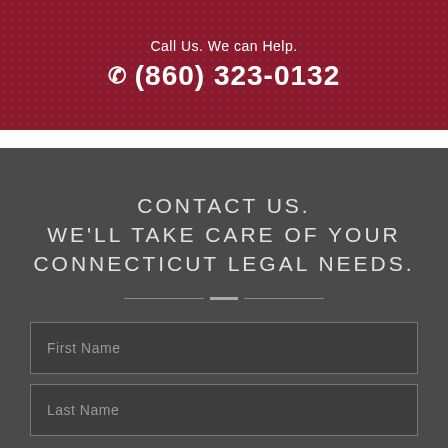Call Us. We can Help.
(860) 323-0132
CONTACT US. WE'LL TAKE CARE OF YOUR CONNECTICUT LEGAL NEEDS.
First Name
Last Name